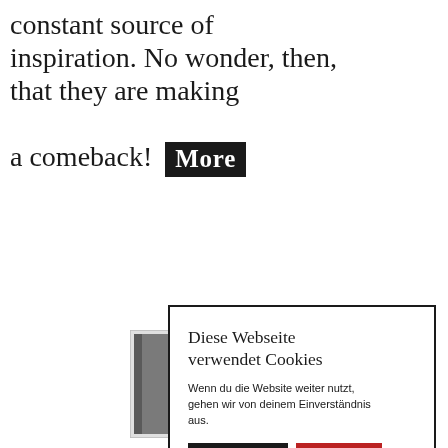constant source of inspiration. No wonder, then, that they are making a comeback! More
[Figure (photo): Partial view of a dark gray book cover visible behind the cookie consent dialog]
Diese Webseite verwendet Cookies
Wenn du die Website weiter nutzt, gehen wir von deinem Einverständnis aus.
Akzeptieren  Ablehnen
Cookie Einstellungen  Mehr lesen